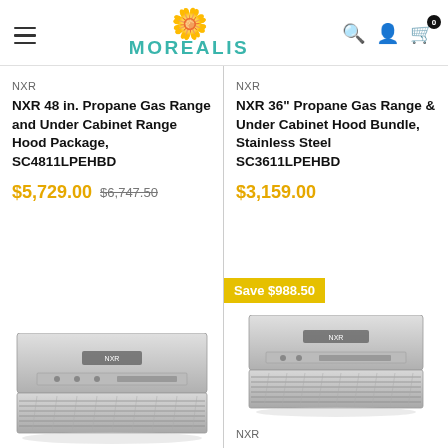MOREALIS — navigation header with hamburger menu, logo, search, account, and cart icons
NXR
NXR 48 in. Propane Gas Range and Under Cabinet Range Hood Package, SC4811LPEHBD
$5,729.00  $6,747.50
[Figure (photo): Stainless steel under-cabinet range hood viewed from below]
NXR
NXR 36" Propane Gas Range & Under Cabinet Hood Bundle, Stainless Steel SC3611LPEHBD
$3,159.00
Save $988.50
[Figure (photo): Stainless steel under-cabinet range hood viewed from below, smaller size]
NXR